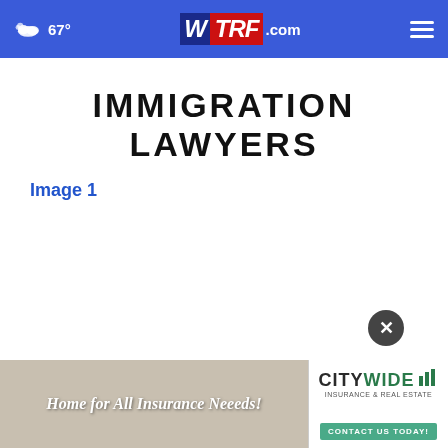67° WTRF.com
IMMIGRATION LAWYERS
Image 1
[Figure (screenshot): Close (X) button overlay on webpage]
[Figure (screenshot): Advertisement banner: Home for All Insurance Neeeds! - CityWide Insurance & Real Estate - Contact Us Today!]